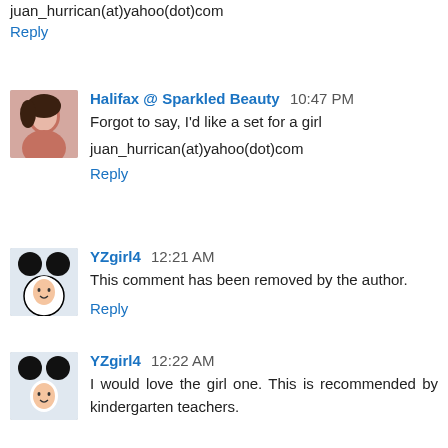juan_hurrican(at)yahoo(dot)com
Reply
Halifax @ Sparkled Beauty  10:47 PM
Forgot to say, I'd like a set for a girl
juan_hurrican(at)yahoo(dot)com
Reply
YZgirl4  12:21 AM
This comment has been removed by the author.
Reply
YZgirl4  12:22 AM
I would love the girl one. This is recommended by kindergarten teachers.
Reply